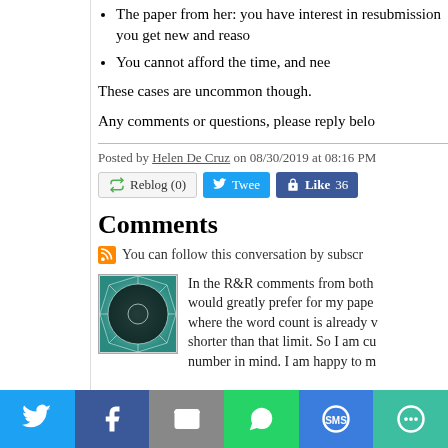The paper from her: you have interest in resubmission you get new and reaso...
You cannot afford the time, and nee...
These cases are uncommon though.
Any comments or questions, please reply belo...
Posted by Helen De Cruz on 08/30/2019 at 08:16 PM
[Figure (screenshot): Social sharing buttons: Reblog (0), Tweet, Like 36]
Comments
You can follow this conversation by subscr...
[Figure (illustration): User avatar with teal geometric pattern]
In the R&R comments from both... would greatly prefer for my pape... where the word count is already v... shorter than that limit. So I am cu... number in mind. I am happy to m...
[Figure (infographic): Bottom social sharing bar: Twitter, Facebook, Email, WhatsApp, SMS, More]